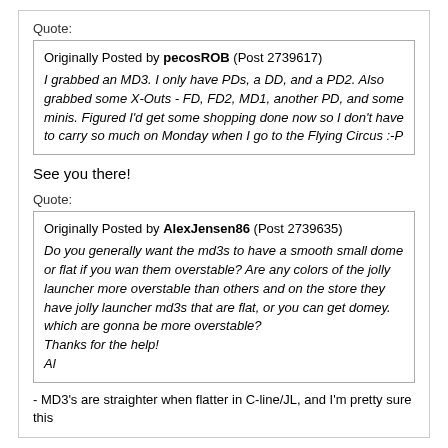Quote:
Originally Posted by pecosROB (Post 2739617)
I grabbed an MD3. I only have PDs, a DD, and a PD2. Also grabbed some X-Outs - FD, FD2, MD1, another PD, and some minis. Figured I'd get some shopping done now so I don't have to carry so much on Monday when I go to the Flying Circus :-P
See you there!
Quote:
Originally Posted by AlexJensen86 (Post 2739635)
Do you generally want the md3s to have a smooth small dome or flat if you wan them overstable? Are any colors of the jolly launcher more overstable than others and on the store they have jolly launcher md3s that are flat, or you can get domey. which are gonna be more overstable?
Thanks for the help!
Al
- MD3's are straighter when flatter in C-line/JL, and I'm pretty sure this